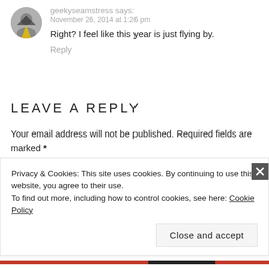geekyseamstress says:
November 26, 2014 at 1:26 pm
Right? I feel like this year is just flying by.
Reply
LEAVE A REPLY
Your email address will not be published. Required fields are marked *
Comment *
Privacy & Cookies: This site uses cookies. By continuing to use this website, you agree to their use.
To find out more, including how to control cookies, see here: Cookie Policy